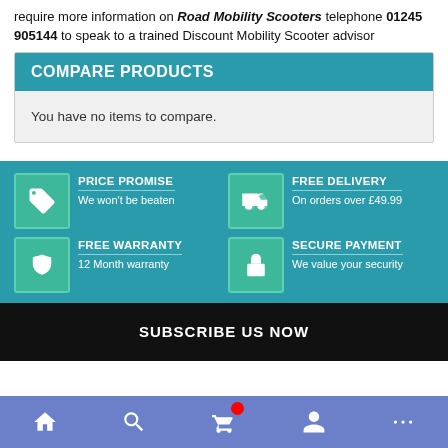require more information on Road Mobility Scooters telephone 01245 905144 to speak to a trained Discount Mobility Scooter advisor
COMPARE PRODUCTS
You have no items to compare.
[Figure (infographic): Teal banner with four feature blocks: Price Promise (We won't be beaten), Free Delivery (On orders over £49.99), Free Warranty (12 Month warranty), Secure Payment (We value your security), each with a green icon box.]
SUBSCRIBE US NOW
[Figure (screenshot): Dark bottom navigation bar with home, search, cart (with red badge), user, and more icons on a purple/blue background.]